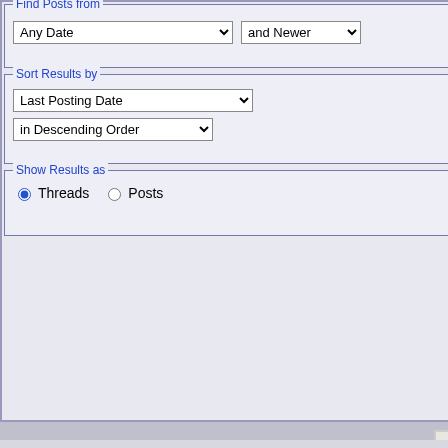[Figure (screenshot): Forum search interface showing form fields: Find Posts From with date dropdowns (Any Date, and Newer), Sort Results by (Last Posting Date, in Descending Order), Show Results as (Threads radio selected, Posts radio). Right side shows forum categories: Information & Answers, Homework Help, Fun Stuff, Lounge, Puzzles, Great Internet Merse, News, GIMPS Board o, Hardware, GPU Computing, Also search in ch checkbox. Search Now and Reset Fields buttons at bottom.]
All times are UTC. The time now is 10:53.
Wed Aug 24 10:53:09 UTC 2022 up 6 days, 8:21, 0 users, load averages: 1.31, 1.16, 1.16
Powered by vBulletin® Version 3.8.11
Copyright ©2000 - 2022, Jelsoft Enterprises Ltd.
This forum has received and complied with 0 (zero) government requests for information.
Permission is granted to copy, distribute and/or modify this document under the terms of the GNU Free Documentation License, Version 1.2 or any later version published by the Free Software Foundation.
A copy of the license is included in the FAQ.
≠ ± ∓ ÷ × · − √ ‰ ⊗ ⊕ ⊖ ∅ ⊙ ≤ ≥ ≦ ≧ ≮ ≯ < > ≪ ≫ ⊂ ⊃ ⊆ ⊇ ² ³ °
∠ ⌐ ⁰ ≡ ~ ∥ ⊥ ⌐